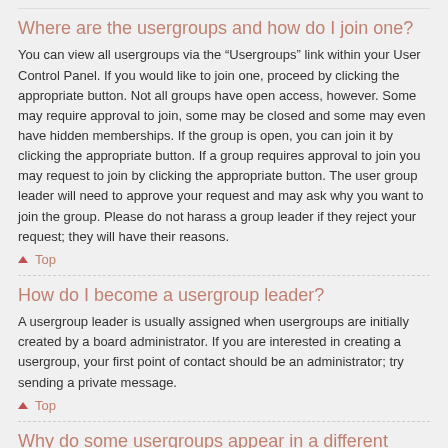Where are the usergroups and how do I join one?
You can view all usergroups via the “Usergroups” link within your User Control Panel. If you would like to join one, proceed by clicking the appropriate button. Not all groups have open access, however. Some may require approval to join, some may be closed and some may even have hidden memberships. If the group is open, you can join it by clicking the appropriate button. If a group requires approval to join you may request to join by clicking the appropriate button. The user group leader will need to approve your request and may ask why you want to join the group. Please do not harass a group leader if they reject your request; they will have their reasons.
▲ Top
How do I become a usergroup leader?
A usergroup leader is usually assigned when usergroups are initially created by a board administrator. If you are interested in creating a usergroup, your first point of contact should be an administrator; try sending a private message.
▲ Top
Why do some usergroups appear in a different colour?
It is possible for the board administrator to assign a colour to the members of a usergroup to make it easy to identify the members of this group.
▲ Top
What is a “Default usergroup”?
If you are a member of more than one usergroup, your default is used to determine which group colour and group rank should be shown for you by default. The board